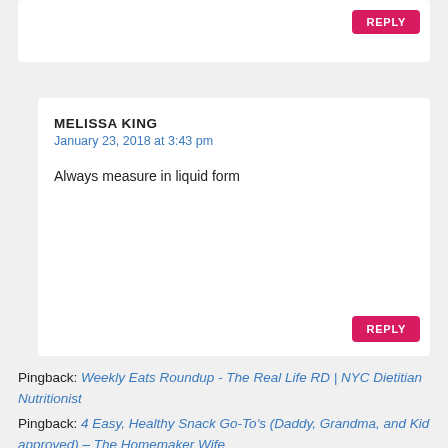REPLY
MELISSA KING
January 23, 2018 at 3:43 pm
Always measure in liquid form
REPLY
Pingback: Weekly Eats Roundup - The Real Life RD | NYC Dietitian Nutritionist
Pingback: 4 Easy, Healthy Snack Go-To's (Daddy, Grandma, and Kid approved) – The Homemaker Wife
TAMMY
May 14, 2018 at 8:42 pm
Are the nuts suppose to be raw or roasted?